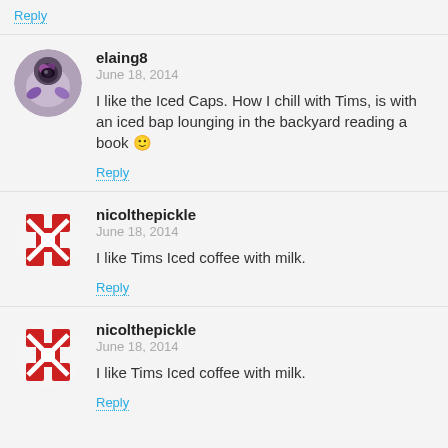Reply
elaing8
June 18, 2014
I like the Iced Caps. How I chill with Tims, is with an iced bap lounging in the backyard reading a book 🙂
Reply
nicolthepickle
June 18, 2014
I like Tims Iced coffee with milk.
Reply
nicolthepickle
June 18, 2014
I like Tims Iced coffee with milk.
Reply